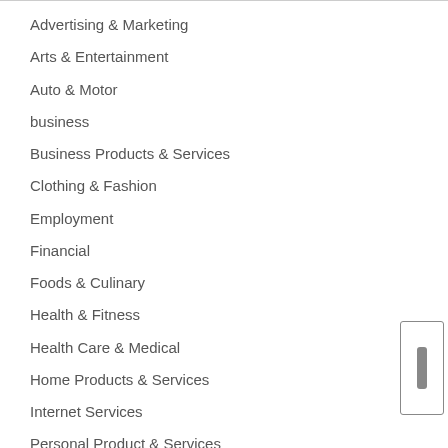Advertising & Marketing
Arts & Entertainment
Auto & Motor
business
Business Products & Services
Clothing & Fashion
Employment
Financial
Foods & Culinary
Health & Fitness
Health Care & Medical
Home Products & Services
Internet Services
Personal Product & Services
Pets & Animals
Real Estate